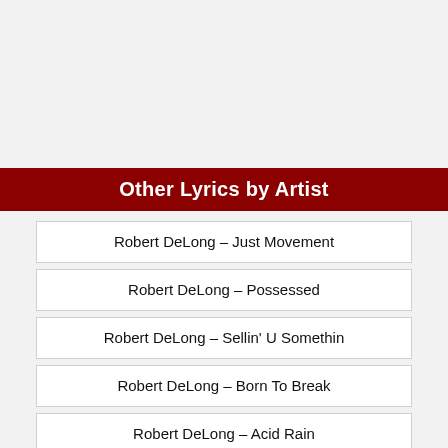Other Lyrics by Artist
Robert DeLong – Just Movement
Robert DeLong – Possessed
Robert DeLong – Sellin' U Somethin
Robert DeLong – Born To Break
Robert DeLong – Acid Rain
Robert DeLong – Future's Right Here